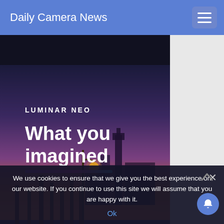Daily Camera News
[Figure (illustration): Luminar Neo advertisement banner showing Venice gondola scene at sunset/dusk with text 'LUMINAR NEO' and 'What you imagined' and a pink/magenta horizontal bar and a 'BUY NOW' button at the bottom]
We use cookies to ensure that we give you the best experience on our website. If you continue to use this site we will assume that you are happy with it.
Ok